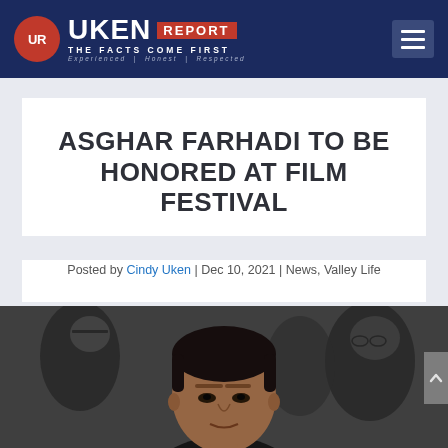UKEN REPORT — THE FACTS COME FIRST — Experienced | Honest | Respected
ASGHAR FARHADI TO BE HONORED AT FILM FESTIVAL
Posted by Cindy Uken | Dec 10, 2021 | News, Valley Life
[Figure (photo): Close-up photo of a man (Asghar Farhadi) in the foreground with blurred figures in the background]